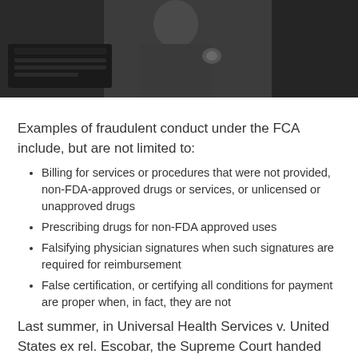[Figure (photo): Black and white photo of a person in a suit near a typewriter, with another person visible in the background]
Examples of fraudulent conduct under the FCA include, but are not limited to:
Billing for services or procedures that were not provided, non-FDA-approved drugs or services, or unlicensed or unapproved drugs
Prescribing drugs for non-FDA approved uses
Falsifying physician signatures when such signatures are required for reimbursement
False certification, or certifying all conditions for payment are proper when, in fact, they are not
Last summer, in Universal Health Services v. United States ex rel. Escobar, the Supreme Court handed down a unanimous decision holding that so-called implied false